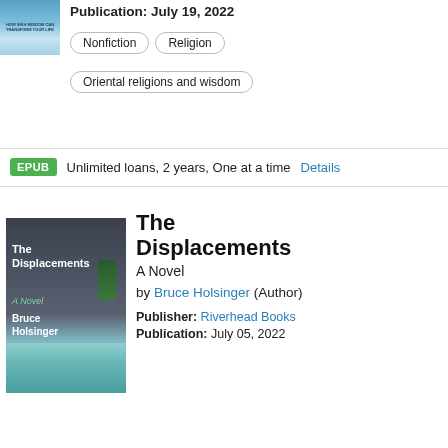Publication: July 19, 2022
Nonfiction
Religion
Oriental religions and wisdom
EPUB  Unlimited loans, 2 years, One at a time  Details
[Figure (photo): Book cover of The Displacements: A Novel by Bruce Holsinger, showing a stormy sky with a palm tree, a white wall, and a swimming pool]
The Displacements
A Novel
by Bruce Holsinger (Author)
Publisher: Riverhead Books
Publication: July 05, 2022